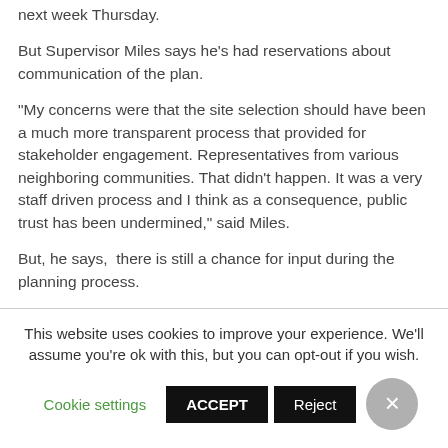next week Thursday.
But Supervisor Miles says he's had reservations about communication of the plan.
“My concerns were that the site selection should have been a much more transparent process that provided for stakeholder engagement. Representatives from various neighboring communities. That didn’t happen. It was a very staff driven process and I think as a consequence, public trust has been undermined,” said Miles.
But, he says,  there is still a chance for input during the planning process.
This website uses cookies to improve your experience. We’ll assume you’re ok with this, but you can opt-out if you wish.
Cookie settings | ACCEPT | Reject